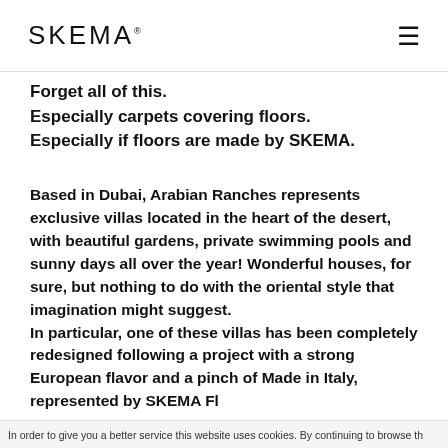SKEMA
Forget all of this.
Especially carpets covering floors.
Especially if floors are made by SKEMA.
Based in Dubai, Arabian Ranches represents exclusive villas located in the heart of the desert, with beautiful gardens, private swimming pools and sunny days all over the year! Wonderful houses, for sure, but nothing to do with the oriental style that imagination might suggest.
In particular, one of these villas has been completely redesigned following a project with a strong European flavor and a pinch of Made in Italy, represented by SKEMA Fl...
In order to give you a better service this website uses cookies. By continuing to browse th